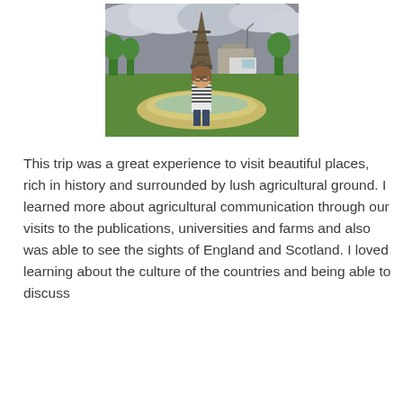[Figure (photo): A young woman wearing a striped shirt and glasses stands in front of the Eiffel Tower in Paris, with a circular fountain and green lawns visible in the background under a cloudy sky.]
This trip was a great experience to visit beautiful places, rich in history and surrounded by lush agricultural ground. I learned more about agricultural communication through our visits to the publications, universities and farms and also was able to see the sights of England and Scotland. I loved learning about the culture of the countries and being able to discuss